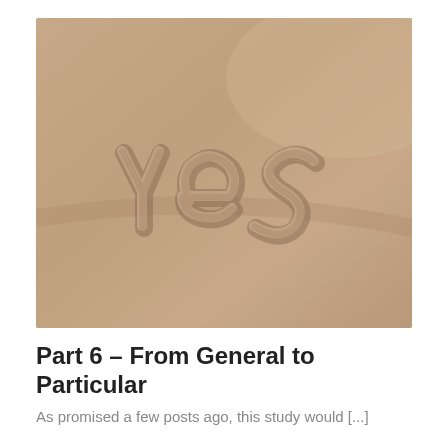[Figure (photo): A photograph of the word 'yes' written in sand, carved in lowercase cursive letters in a sandy surface with a warm beige/brown tone.]
Part 6 – From General to Particular
As promised a few posts ago, this study would [...]